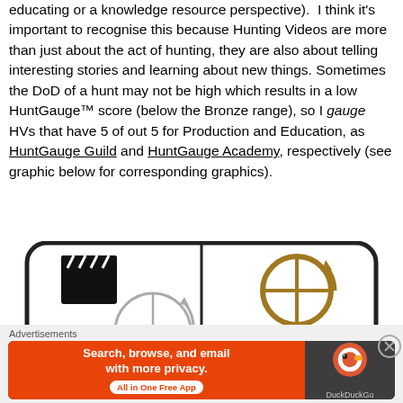educating or a knowledge resource perspective).  I think it's important to recognise this because Hunting Videos are more than just about the act of hunting, they are also about telling interesting stories and learning about new things. Sometimes the DoD of a hunt may not be high which results in a low HuntGauge™ score (below the Bronze range), so I gauge HVs that have 5 of out 5 for Production and Education, as HuntGauge Guild and HuntGauge Academy, respectively (see graphic below for corresponding graphics).
[Figure (illustration): Partial graphic showing HuntGauge icons including a clapperboard icon, a circular gauge/crosshair icon in bronze/gold color, text 'Bronze', and a blue icon partially visible at bottom right.]
Advertisements
[Figure (screenshot): DuckDuckGo advertisement banner: orange-red left panel with text 'Search, browse, and email with more privacy. All in One Free App' and DuckDuckGo logo on dark right panel.]